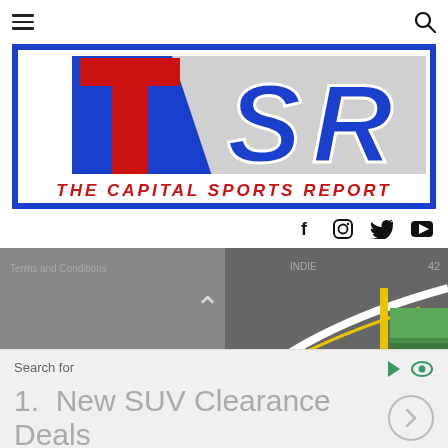[Figure (logo): TSR - The Capital Sports Report logo with blue border, red T, grey/blue SR letters, and red italic text reading THE CAPITAL SPORTS REPORT]
[Figure (screenshot): Video thumbnail showing a racing track with a white line curve, yellow line, pit lane area with green containers. Overlay shows Terms and Conditions text, INDIE text, and a caret/cursor symbol. Timer shows 42 in top right.]
Search for
1.  New SUV Clearance Deals